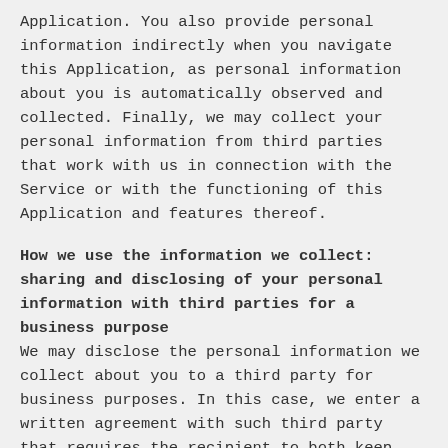Application. You also provide personal information indirectly when you navigate this Application, as personal information about you is automatically observed and collected. Finally, we may collect your personal information from third parties that work with us in connection with the Service or with the functioning of this Application and features thereof.
How we use the information we collect: sharing and disclosing of your personal information with third parties for a business purpose
We may disclose the personal information we collect about you to a third party for business purposes. In this case, we enter a written agreement with such third party that requires the recipient to both keep the personal